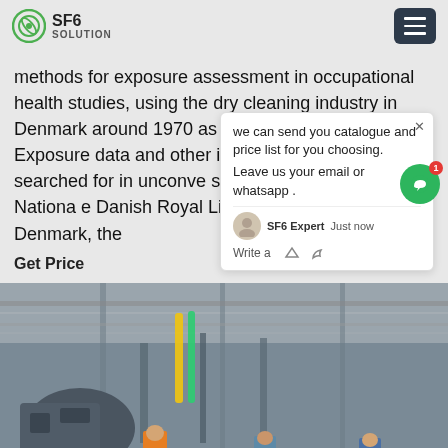SF6 SOLUTION
methods for exposure assessment in occupational health studies, using the dry cleaning industry in Denmark around 1970 as the example. Method Exposure data and other information e status were searched for in unconve sources such as the Danish Nationa e Danish Royal Library, archives of St Denmark, the
Get Price
[Figure (photo): Workers in blue hard hats and orange vests working in an industrial facility with machinery and metal framework overhead]